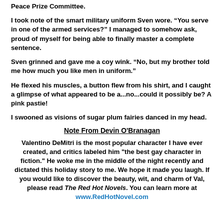Peace Prize Committee.
I took note of the smart military uniform Sven wore. “You serve in one of the armed services?” I managed to somehow ask, proud of myself for being able to finally master a complete sentence.
Sven grinned and gave me a coy wink. “No, but my brother told me how much you like men in uniform.”
He flexed his muscles, a button flew from his shirt, and I caught a glimpse of what appeared to be a...no...could it possibly be? A pink pastie!
I swooned as visions of sugar plum fairies danced in my head.
Note From Devin O'Branagan
Valentino DeMitri is the most popular character I have ever created, and critics labeled him "the best gay character in fiction." He woke me in the middle of the night recently and dictated this holiday story to me. We hope it made you laugh. If you would like to discover the beauty, wit, and charm of Val, please read The Red Hot Novels. You can learn more at www.RedHotNovel.com